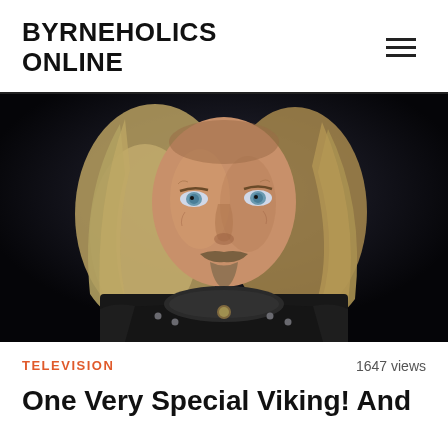BYRNEHOLICS ONLINE
[Figure (photo): Close-up portrait of an older man with long grey-blond hair, blue eyes, a goatee mustache, wearing dark Viking-style leather armor with metal studs and an ornate necklace, against a very dark background.]
TELEVISION   1647 views
One Very Special Viking! And